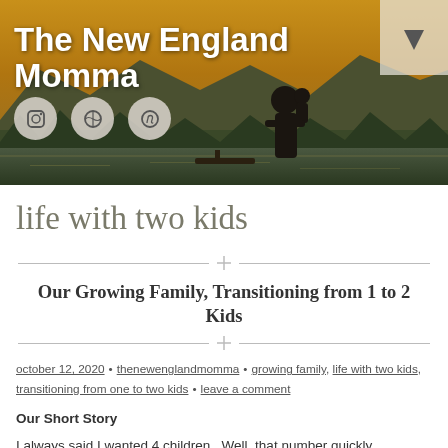[Figure (photo): Header image of a silhouette of a woman holding a child by a lake at sunset with mountains in the background. Blog header for 'The New England Momma' with three social media icons (Instagram, WordPress, Pinterest) and a chevron.]
life with two kids
Our Growing Family, Transitioning from 1 to 2 Kids
october 12, 2020 • thenewenglandmomma • growing family, life with two kids, transitioning from one to two kids • leave a comment
Our Short Story
I always said I wanted 4 children.  Well, that number quickly